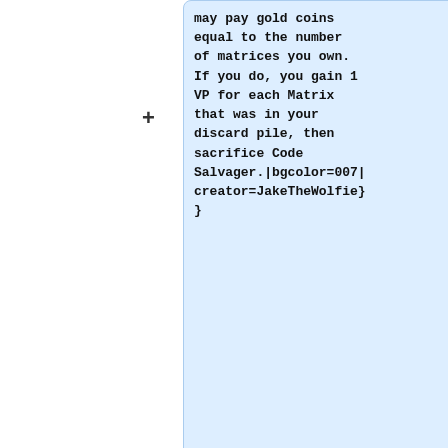may pay gold coins equal to the number of matrices you own. If you do, you gain 1 VP for each Matrix that was in your discard pile, then sacrifice Code Salvager.|bgcolor=007|creator=JakeTheWolfie}}
{{card|title=Plug In|type=Action|cornervalue=4|text=Target thing becomes a Matrix in addition to its' other types.|bgcolor=700|creator=JakeTheWolfie}}